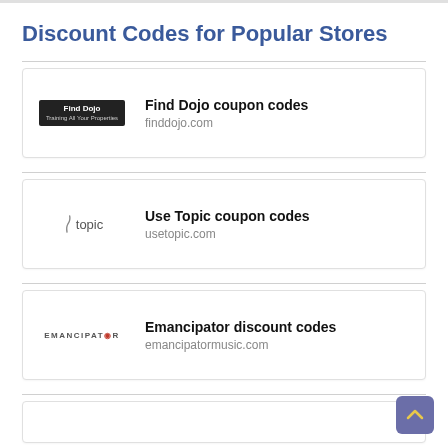Discount Codes for Popular Stores
Find Dojo coupon codes — finddojo.com
Use Topic coupon codes — usetopic.com
Emancipator discount codes — emancipatormusic.com